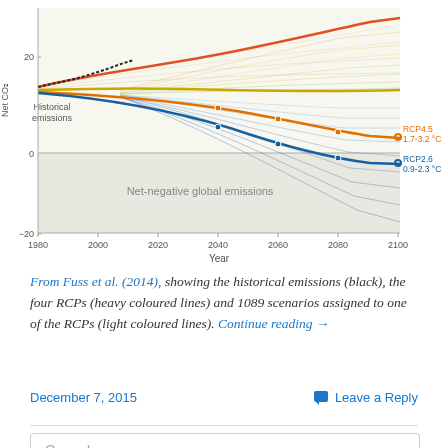[Figure (continuous-plot): Chart showing net CO2 emissions (GtCO2/yr) from 1980 to 2100. Historical emissions shown as black dotted line rising to ~20 by 2015. Four RCP pathways shown as heavy coloured lines (RCP8.5 red/orange top, RCP6.0 orange, RCP4.5 orange-labelled, RCP2.6 blue-labelled), with 1089 scenario lines in light colours fanning out. Net-negative global emissions region shaded below zero. RCP4.5 labeled 1.7-3.2°C, RCP2.6 labeled 0.9-2.3°C.]
From Fuss et al. (2014), showing the historical emissions (black), the four RCPs (heavy coloured lines) and 1089 scenarios assigned to one of the RCPs (light coloured lines). Continue reading →
December 7, 2015
Leave a Reply